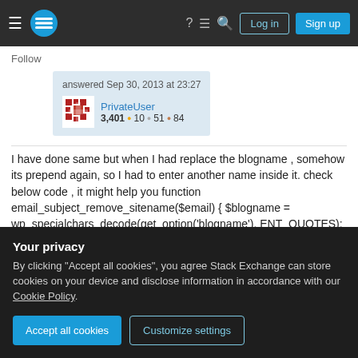Stack Exchange navigation bar with hamburger menu, logo, question mark, comments, search icons, Log in and Sign up buttons
Follow
answered Sep 30, 2013 at 23:27
PrivateUser
3,401 ●10 ●51 ●84
I have done same but when I had replace the blogname , somehow its prepend again, so I had to enter another name inside it. check below code , it might help you function email_subject_remove_sitename($email) { $blogname = wp_specialchars_decode(get_option('blogname'), ENT_QUOTES); $email['subject'] = str_replace("
Your privacy
By clicking "Accept all cookies", you agree Stack Exchange can store cookies on your device and disclose information in accordance with our Cookie Policy.
Accept all cookies    Customize settings